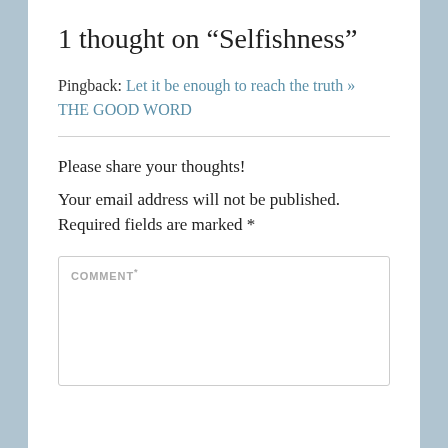1 thought on “Selfishness”
Pingback: Let it be enough to reach the truth » THE GOOD WORD
Please share your thoughts!
Your email address will not be published. Required fields are marked *
COMMENT*